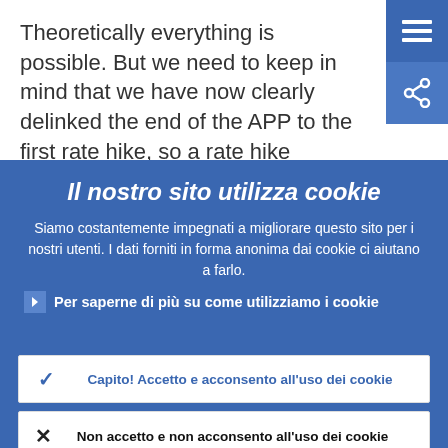Theoretically everything is possible. But we need to keep in mind that we have now clearly delinked the end of the APP to the first rate hike, so a rate hike doesn't need to
Il nostro sito utilizza cookie
Siamo costantemente impegnati a migliorare questo sito per i nostri utenti. I dati forniti in forma anonima dai cookie ci aiutano a farlo.
Per saperne di più su come utilizziamo i cookie
Capito! Accetto e acconsento all'uso dei cookie
Non accetto e non acconsento all'uso dei cookie